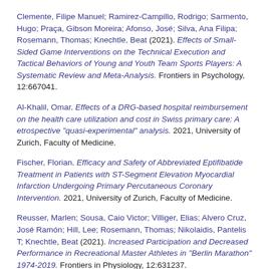Clemente, Filipe Manuel; Ramirez-Campillo, Rodrigo; Sarmento, Hugo; Praça, Gibson Moreira; Afonso, José; Silva, Ana Filipa; Rosemann, Thomas; Knechtle, Beat (2021). Effects of Small-Sided Game Interventions on the Technical Execution and Tactical Behaviors of Young and Youth Team Sports Players: A Systematic Review and Meta-Analysis. Frontiers in Psychology, 12:667041.
Al-Khalil, Omar. Effects of a DRG-based hospital reimbursement on the health care utilization and cost in Swiss primary care: A etrospective "quasi-experimental" analysis. 2021, University of Zurich, Faculty of Medicine.
Fischer, Florian. Efficacy and Safety of Abbreviated Eptifibatide Treatment in Patients with ST-Segment Elevation Myocardial Infarction Undergoing Primary Percutaneous Coronary Intervention. 2021, University of Zurich, Faculty of Medicine.
Reusser, Marlen; Sousa, Caio Victor; Villiger, Elias; Alvero Cruz, José Ramón; Hill, Lee; Rosemann, Thomas; Nikolaidis, Pantelis T; Knechtle, Beat (2021). Increased Participation and Decreased Performance in Recreational Master Athletes in "Berlin Marathon" 1974-2019. Frontiers in Physiology, 12:631237.
de Lira, Claudio Andre Barbosa; Santos, Douglas Assis Teles;